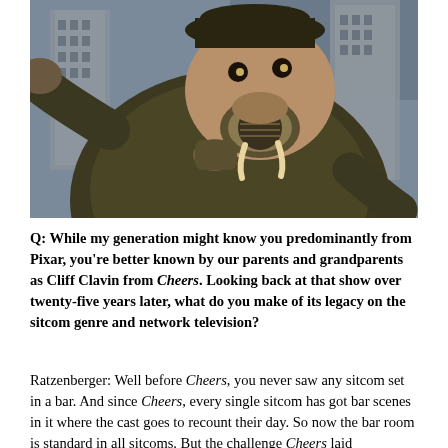[Figure (photo): A CGI animated character resembling a large walrus-like figure in a dark coat and hat, wearing a gas mask device, pointing outward with one arm. Buildings visible in the background with a cloudy sky.]
Q: While my generation might know you predominantly from Pixar, you're better known by our parents and grandparents as Cliff Clavin from Cheers. Looking back at that show over twenty-five years later, what do you make of its legacy on the sitcom genre and network television?
Ratzenberger: Well before Cheers, you never saw any sitcom set in a bar. And since Cheers, every single sitcom has got bar scenes in it where the cast goes to recount their day. So now the bar room is standard in all sitcoms. But the challenge Cheers laid